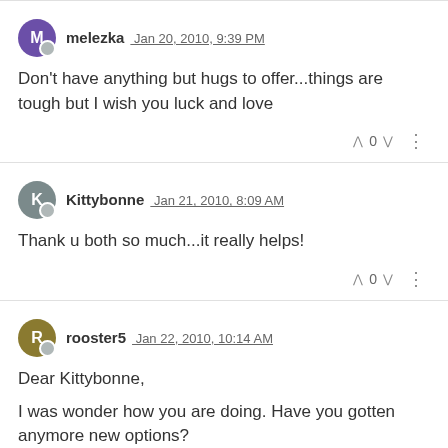melezka Jan 20, 2010, 9:39 PM
Don't have anything but hugs to offer...things are tough but I wish you luck and love
Kittybonne Jan 21, 2010, 8:09 AM
Thank u both so much...it really helps!
rooster5 Jan 22, 2010, 10:14 AM
Dear Kittybonne,

I was wonder how you are doing. Have you gotten anymore new options?

Hugs,